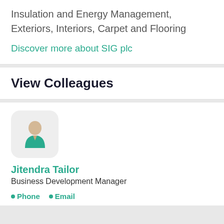Insulation and Energy Management, Exteriors, Interiors, Carpet and Flooring
Discover more about SIG plc
View Colleagues
[Figure (illustration): Generic user avatar icon: teal shirt, beige face, rounded rectangle background]
Jitendra Tailor
Business Development Manager
Phone  Email